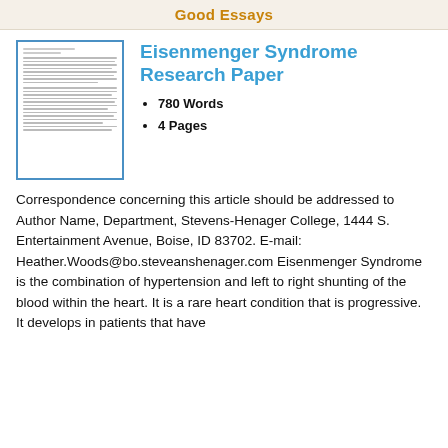Good Essays
[Figure (illustration): Thumbnail preview of a multi-page document with lines of text]
Eisenmenger Syndrome Research Paper
780 Words
4 Pages
Correspondence concerning this article should be addressed to Author Name, Department, Stevens-Henager College, 1444 S. Entertainment Avenue, Boise, ID 83702. E-mail: Heather.Woods@bo.steveanshenager.com Eisenmenger Syndrome is the combination of hypertension and left to right shunting of the blood within the heart. It is a rare heart condition that is progressive. It develops in patients that have